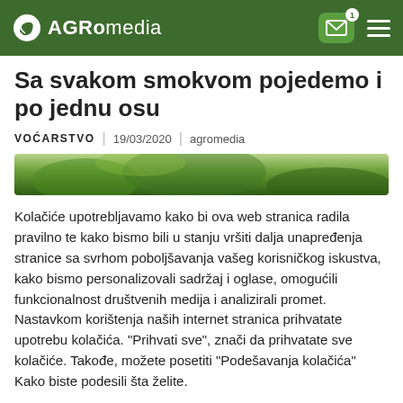AGROmedia
Sa svakom smokvom pojedemo i po jednu osu
VOĆARSTVO | 19/03/2020 | agromedia
[Figure (photo): Partial view of green fig leaves or plant, blurred background]
Kolačiće upotrebljavamo kako bi ova web stranica radila pravilno te kako bismo bili u stanju vršiti dalja unapređenja stranice sa svrhom poboljšavanja vašeg korisničkog iskustva, kako bismo personalizovali sadržaj i oglase, omogućili funkcionalnost društvenih medija i analizirali promet. Nastavkom korištenja naših internet stranica prihvatate upotrebu kolačića. "Prihvati sve", znači da prihvatate sve kolačiće. Takođe, možete posetiti "Podešavanja kolačića" Kako biste podesili šta želite.
Podešavanja Kolačića | Prihvati Sve